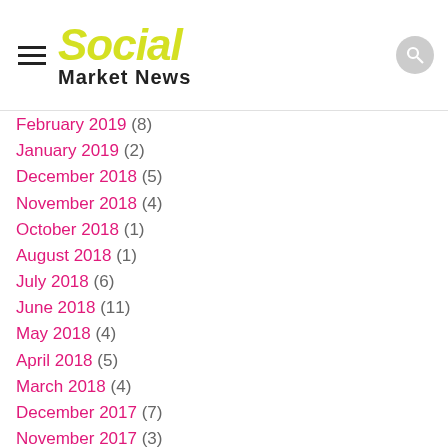Social Market News
February 2019 (8)
January 2019 (2)
December 2018 (5)
November 2018 (4)
October 2018 (1)
August 2018 (1)
July 2018 (6)
June 2018 (11)
May 2018 (4)
April 2018 (5)
March 2018 (4)
December 2017 (7)
November 2017 (3)
October 2017 (8)
September 2017 (6)
August 2017 (2)
July 2017 (5)
June 2017 (17)
May 2017 (14)
April 2017 (10)
March 2017 (7)
February 2017 (8)